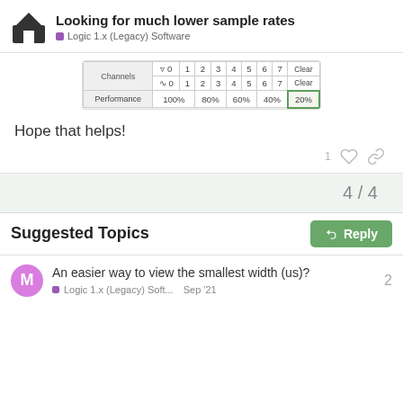Looking for much lower sample rates — Logic 1.x (Legacy) Software
[Figure (screenshot): Screenshot of a channels/performance settings table with rows for Channels and Performance showing values 100%, 80%, 60%, 40%, 20% (highlighted with green border)]
Hope that helps!
1 (like) (link)
4 / 4
Reply
Suggested Topics
An easier way to view the smallest width (us)?
Logic 1.x (Legacy) Soft...  Sep '21  2